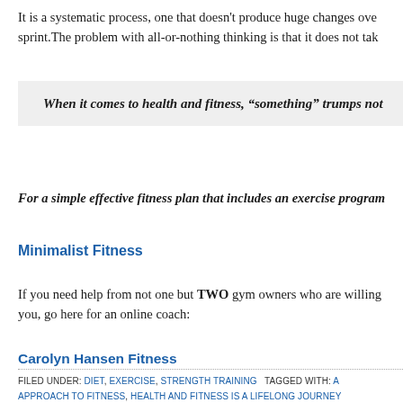It is a systematic process, one that doesn't produce huge changes over night, it's a marathon not a sprint.The problem with all-or-nothing thinking is that it does not tak
When it comes to health and fitness, “something” trumps not
For a simple effective fitness plan that includes an exercise program
Minimalist Fitness
If you need help from not one but TWO gym owners who are willing to coach you, go here for an online coach:
Carolyn Hansen Fitness
FILED UNDER: DIET, EXERCISE, STRENGTH TRAINING   TAGGED WITH: A   APPROACH TO FITNESS, HEALTH AND FITNESS IS A LIFELONG JOURNEY